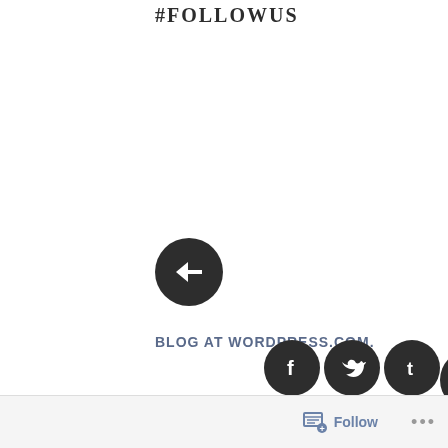#FOLLOWUS
[Figure (infographic): Navigation UI with left arrow button, right arrow button, and plus button in dark circles]
BLOG AT WORDPRESS.COM.
[Figure (infographic): Social media icons: Facebook, Twitter, Tumblr in dark circles]
Follow ...